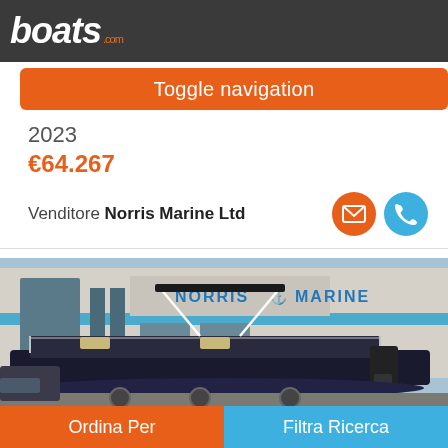boats.com
Toggle navigation
2023
€64.267
Venditore Norris Marine Ltd
[Figure (photo): A pontoon boat parked in front of a Norris Marine dealership building, showing black pontoon hull with canopy, outboard motor visible, and a photo count badge showing 26 photos.]
Ordina Per | Filtra Ricerca